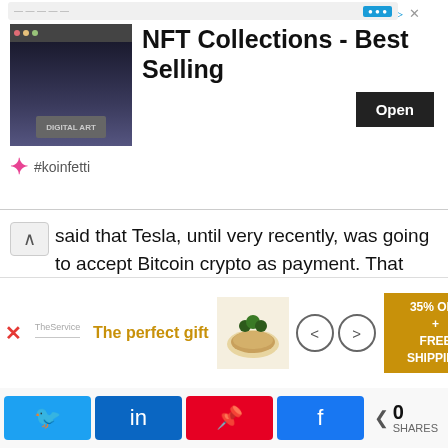[Figure (screenshot): Advertisement banner for NFT Collections - Best Selling with Open button and koinfetti logo]
said that Tesla, until very recently, was going to accept Bitcoin crypto as payment. That alone told him he did not understand how to think about Bitcoin.
Bitcoin fans are tired of Tesla Chief Executive's exerting so much impact over the near-term price movements of seemingly all cryptos.
Chief Executive and founder of a crypto lending platform that offers digital tokens as rewards to customers, Celsius, Alex Mashinsky, said that people who followed Elon Musk blindly had lost a lot of
[Figure (screenshot): Advertisement banner for The perfect gift with 35% OFF + FREE SHIPPING]
[Figure (screenshot): Social share bar with Twitter, LinkedIn, Pinterest, Facebook buttons and 0 SHARES count]